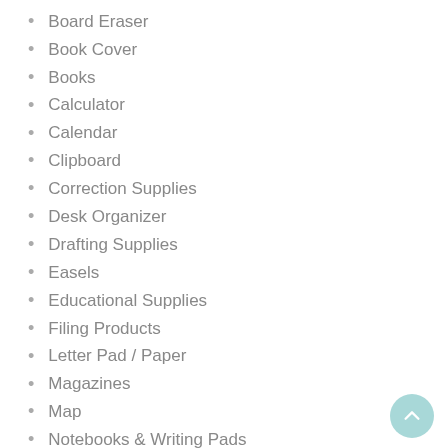Board Eraser
Book Cover
Books
Calculator
Calendar
Clipboard
Correction Supplies
Desk Organizer
Drafting Supplies
Easels
Educational Supplies
Filing Products
Letter Pad / Paper
Magazines
Map
Notebooks & Writing Pads
Office Adhesives & Tapes
Office Binding Supplies
Office Cutting Supplies
Office Equipment
Office Paper